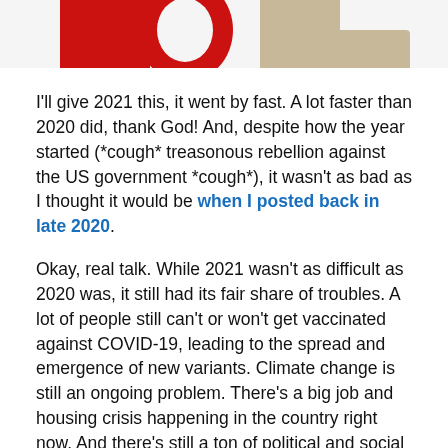[Figure (photo): Partial view of large red and tan/beige 3D letters or blocks against a white background, cropped at the top of the page.]
I'll give 2021 this, it went by fast. A lot faster than 2020 did, thank God! And, despite how the year started (*cough* treasonous rebellion against the US government *cough*), it wasn't as bad as I thought it would be when I posted back in late 2020.
Okay, real talk. While 2021 wasn't as difficult as 2020 was, it still had its fair share of troubles. A lot of people still can't or won't get vaccinated against COVID-19, leading to the spread and emergence of new variants. Climate change is still an ongoing problem. There's a big job and housing crisis happening in the country right now. And there's still a ton of political and social unrest in the US and around the world, among other things.